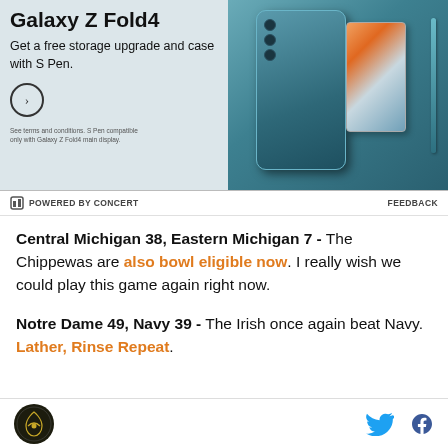[Figure (illustration): Samsung Galaxy Z Fold4 advertisement showing the phone in a teal case with S Pen, with text: 'Galaxy Z Fold4 - Get a free storage upgrade and case with S Pen.']
POWERED BY CONCERT   FEEDBACK
Central Michigan 38, Eastern Michigan 7 - The Chippewas are also bowl eligible now. I really wish we could play this game again right now.
Notre Dame 49, Navy 39 - The Irish once again beat Navy. Lather, Rinse Repeat.
SB Nation logo, Twitter icon, Facebook icon